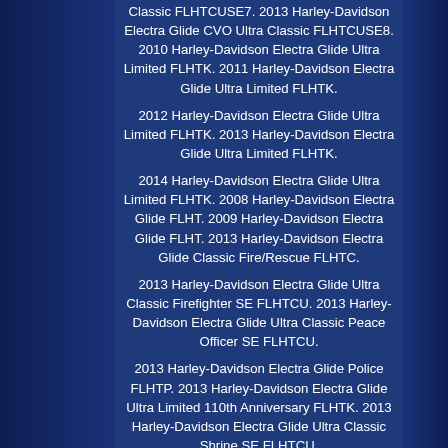Classic FLHTCUSE7. 2013 Harley-Davidson Electra Glide CVO Ultra Classic FLHTCUSE8. 2010 Harley-Davidson Electra Glide Ultra Limited FLHTK. 2011 Harley-Davidson Electra Glide Ultra Limited FLHTK.
2012 Harley-Davidson Electra Glide Ultra Limited FLHTK. 2013 Harley-Davidson Electra Glide Ultra Limited FLHTK.
2014 Harley-Davidson Electra Glide Ultra Limited FLHTK. 2008 Harley-Davidson Electra Glide FLHT. 2009 Harley-Davidson Electra Glide FLHT. 2013 Harley-Davidson Electra Glide Classic Fire/Rescue FLHTC.
2013 Harley-Davidson Electra Glide Ultra Classic Firefighter SE FLHTCU. 2013 Harley-Davidson Electra Glide Ultra Classic Peace Officer SE FLHTCU.
2013 Harley-Davidson Electra Glide Police FLHTP. 2013 Harley-Davidson Electra Glide Ultra Limited 110th Anniversary FLHTK. 2013 Harley-Davidson Electra Glide Ultra Classic Shrine SE FLHTCU.
2013 Harley-Davidson Electra Glide CVO Ultra Classic Anniversary FLHTCUSE8. 2012 Harley-